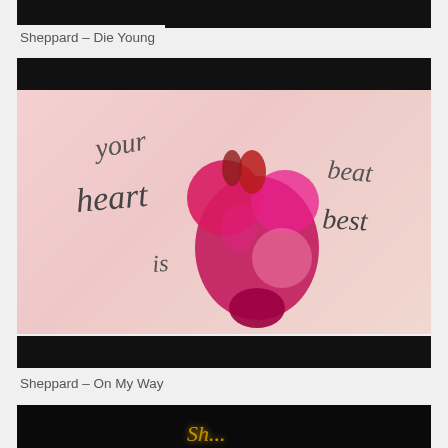[Figure (screenshot): Top black bar of a video player thumbnail for Sheppard Die Young]
Sheppard – Die Young
[Figure (illustration): Video thumbnail for Sheppard Die Young showing an illustrated anatomical heart in pink/red on a light pink background with handwritten text: 'your heart is beat best']
Sheppard – On My Way
[Figure (screenshot): Video thumbnail for Sheppard On My Way showing dark background with glowing text starting with 'Sh...']